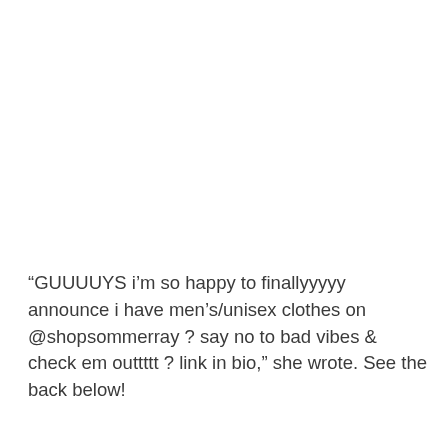“GUUUUYS i’m so happy to finallyyyyy announce i have men’s/unisex clothes on @shopsommerray ? say no to bad vibes & check em outtttt ? link in bio,” she wrote. See the back below!